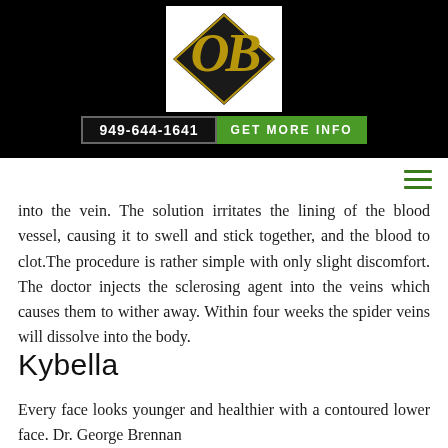[Figure (logo): Decorative script OB monogram logo in gold on black diamond shape, white background box]
949-644-1641  GET MORE INFO
into the vein. The solution irritates the lining of the blood vessel, causing it to swell and stick together, and the blood to clot.The procedure is rather simple with only slight discomfort. The doctor injects the sclerosing agent into the veins which causes them to wither away. Within four weeks the spider veins will dissolve into the body.
Kybella
Every face looks younger and healthier with a contoured lower face. Dr. George Brennan